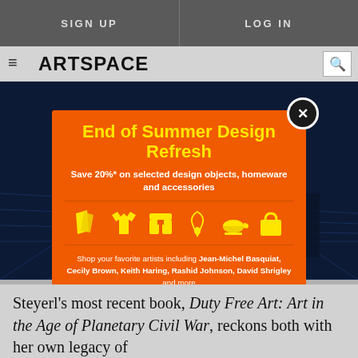SIGN UP | LOG IN
ARTSPACE
[Figure (screenshot): Dark sci-fi grid background image behind modal popup]
End of Summer Design Refresh
Save 20%* on selected design objects, homeware and accessories
[Figure (illustration): Yellow icons of design objects: book/paper, t-shirt, shorts, necklace, teacup, tote bag]
Shop your favorite artists including Jean-Michel Basquiat, Cecily Brown, Keith Haring, Rashid Johnson, David Shrigley and more
SHOP NOW
*Sale ends Tuesday September 6, 2022
Steyerl’s most recent book, Duty Free Art: Art in the Age of Planetary Civil War, reckons both with her own legacy of